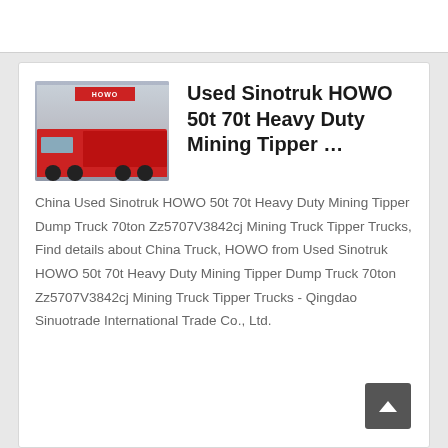[Figure (photo): Red HOWO heavy duty mining dump truck parked in front of a building with HOWO signage]
Used Sinotruk HOWO 50t 70t Heavy Duty Mining Tipper …
China Used Sinotruk HOWO 50t 70t Heavy Duty Mining Tipper Dump Truck 70ton Zz5707V3842cj Mining Truck Tipper Trucks, Find details about China Truck, HOWO from Used Sinotruk HOWO 50t 70t Heavy Duty Mining Tipper Dump Truck 70ton Zz5707V3842cj Mining Truck Tipper Trucks - Qingdao Sinuotrade International Trade Co., Ltd.